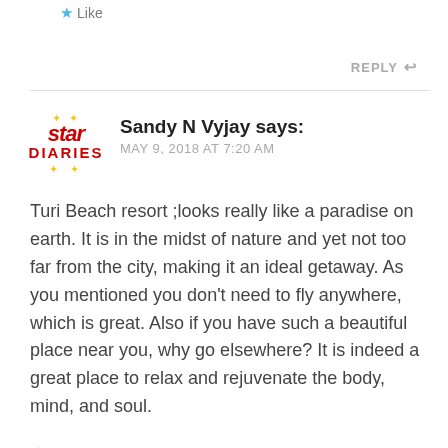Like
REPLY
Sandy N Vyjay says:
MAY 9, 2018 AT 7:20 AM
Turi Beach resort ;looks really like a paradise on earth. It is in the midst of nature and yet not too far from the city, making it an ideal getaway. As you mentioned you don't need to fly anywhere, which is great. Also if you have such a beautiful place near you, why go elsewhere? It is indeed a great place to relax and rejuvenate the body, mind, and soul.
Liked by 1 person